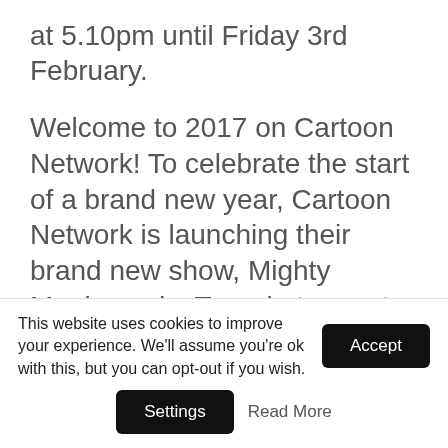at 5.10pm until Friday 3rd February.
Welcome to 2017 on Cartoon Network! To celebrate the start of a brand new year, Cartoon Network is launching their brand new show, Mighty Magiswords. Tune-in to meet your new favourite heroes, twin brother and sister Vambre and Prohyas, Warriors for Hire who embark on manic missions as spies, princess protectors and house-sitters. It's guaranteed to be a comedic quest using their collection of Magiswords—weapons with unique and silly powers, like the ability to throw tomatoes or create boulders. You won't want to miss it!
This website uses cookies to improve your experience. We'll assume you're ok with this, but you can opt-out if you wish. Accept Settings Read More